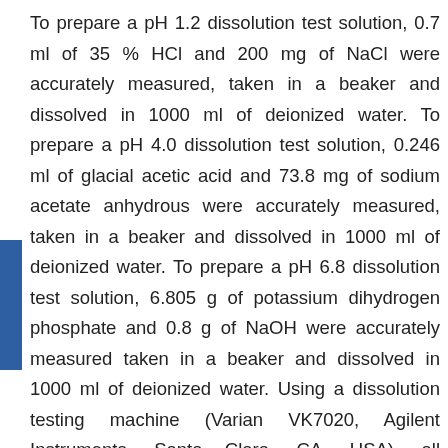To prepare a pH 1.2 dissolution test solution, 0.7 ml of 35 % HCl and 200 mg of NaCl were accurately measured, taken in a beaker and dissolved in 1000 ml of deionized water. To prepare a pH 4.0 dissolution test solution, 0.246 ml of glacial acetic acid and 73.8 mg of sodium acetate anhydrous were accurately measured, taken in a beaker and dissolved in 1000 ml of deionized water. To prepare a pH 6.8 dissolution test solution, 6.805 g of potassium dihydrogen phosphate and 0.8 g of NaOH were accurately measured taken in a beaker and dissolved in 1000 ml of deionized water. Using a dissolution testing machine (Varian VK7020, Agilent Instruments, Santa Clara, CA, USA), all experiments were conducted under the following USP <711>